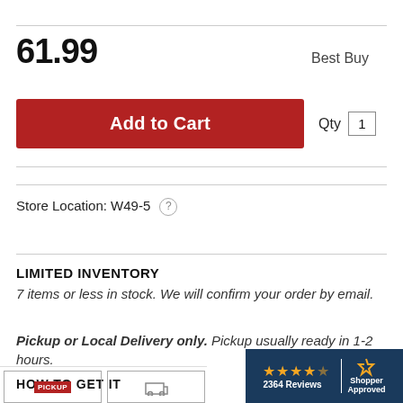61.99   Best Buy
Add to Cart   Qty 1
Store Location: W49-5 (?)
LIMITED INVENTORY
7 items or less in stock. We will confirm your order by email.
Pickup or Local Delivery only. Pickup usually ready in 1-2 hours.
HOW TO GET IT
[Figure (screenshot): Shopper Approved badge with 4 stars and 2364 Reviews]